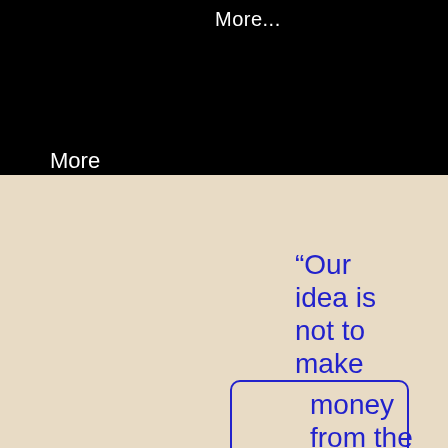More...
More
“Our idea is not to make money from the app. It